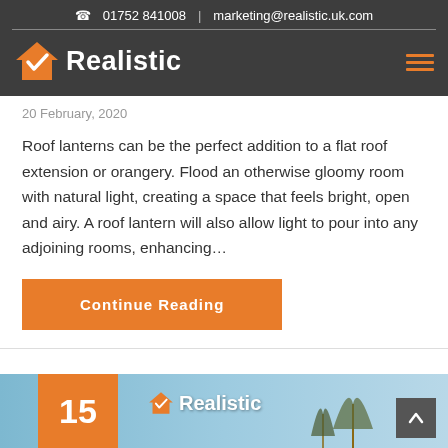01752 841008  |  marketing@realistic.uk.com
[Figure (logo): Realistic logo with orange house/checkmark icon and white bold text 'Realistic' on dark background]
20 February, 2020
Roof lanterns can be the perfect addition to a flat roof extension or orangery. Flood an otherwise gloomy room with natural light, creating a space that feels bright, open and airy. A roof lantern will also allow light to pour into any adjoining rooms, enhancing…
Continue Reading
[Figure (photo): Bottom preview showing Realistic storefront with orange date badge showing '15' and logo on a light blue background with trees]